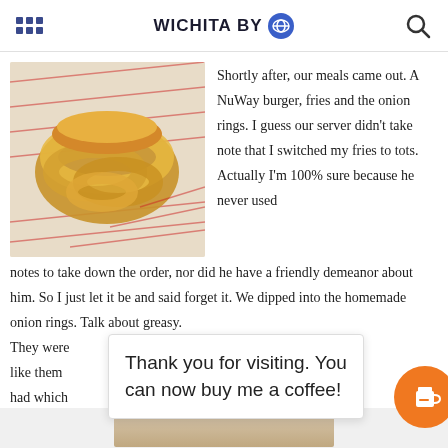WICHITA BY [logo]
[Figure (photo): Photo of fried onion rings in a paper-lined basket with red and white branded wrapping paper]
Shortly after, our meals came out. A NuWay burger, fries and the onion rings. I guess our server didn't take note that I switched my fries to tots. Actually I'm 100% sure because he never used notes to take down the order, nor did he have a friendly demeanor about him. So I just let it be and said forget it. We dipped into the homemade onion rings. Talk about greasy. They were [obscured] seemed to like them [obscured] size they had which [obscured] eop
Thank you for visiting. You can now buy me a coffee!
[Figure (photo): Partial view of another food photo at bottom of page]